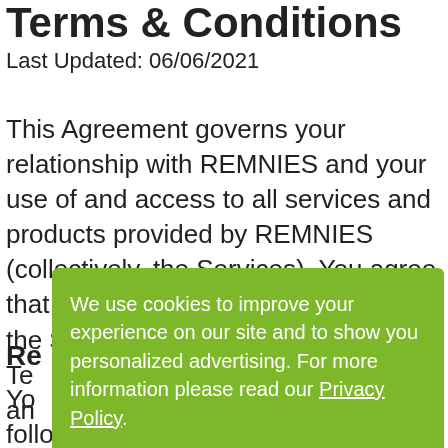Terms & Conditions
Last Updated: 06/06/2021
This Agreement governs your relationship with REMNIES and your use of and access to all services and products provided by REMNIES (collectively, the Services). You agree that by accessing or using any part of the Services you are...Te... an....
Re...
Yo... following apply to you, and you affirm that all of
[Figure (other): Cookie consent banner overlay with green background. Text reads: 'We use cookies to improve your experience on our site and to show you personalized advertising. For more information please read our Privacy Policy.' with an 'I ACCEPT' button.]